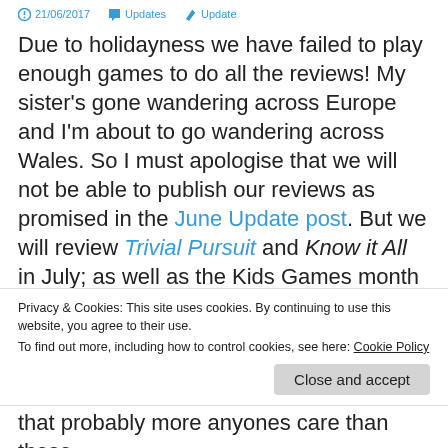21/06/2017  Updates  Update
Due to holidayness we have failed to play enough games to do all the reviews! My sister's gone wandering across Europe and I'm about to go wandering across Wales. So I must apologise that we will not be able to publish our reviews as promised in the June Update post. But we will review Trivial Pursuit and Know it All in July; as well as the Kids Games month we had planned. But until early-mid July it's unlikely we'll achieve
Privacy & Cookies: This site uses cookies. By continuing to use this website, you agree to their use. To find out more, including how to control cookies, see here: Cookie Policy
Close and accept
that probably more anyones care than those